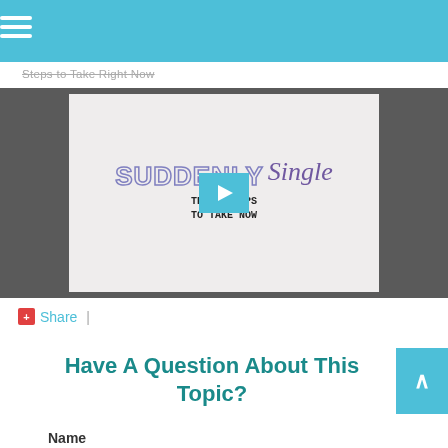Steps to Take Right Now
[Figure (screenshot): Video thumbnail showing 'SUDDENLY Single - Three Steps to Take Now' with a play button overlay on a light grey background, surrounded by dark grey sidebars]
Share |
Have A Question About This Topic?
Name